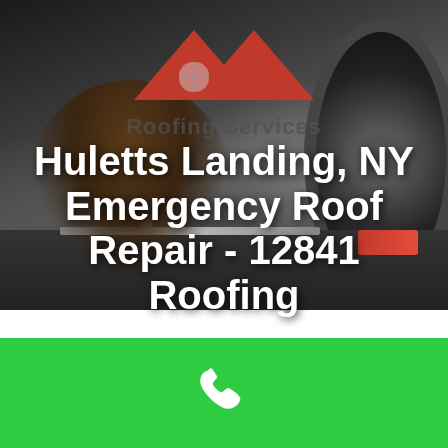[Figure (photo): Background photo of a mechanic working underneath a vehicle, dark garage setting with visible tire/wheel on right side. Overlaid with roofing services logo (red roof/house silhouette) and semi-transparent text 'Roofing Services'.]
Huletts Landing, NY Emergency Roof Repair - 12841 Roofing
[Figure (illustration): Green call-to-action banner with white phone/telephone handset icon centered on a bright green background.]